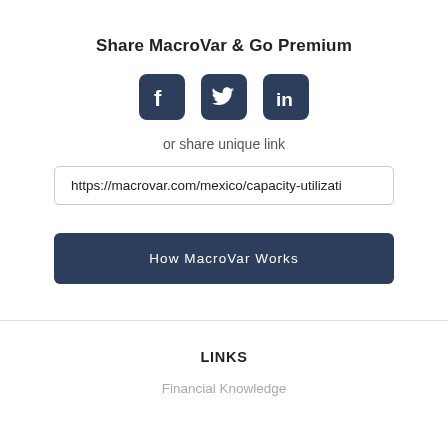Share MacroVar & Go Premium
[Figure (illustration): Three social media icons: Facebook, Twitter, LinkedIn, displayed as dark navy square buttons with rounded corners.]
or share unique link
https://macrovar.com/mexico/capacity-utilizati
How MacroVar Works
LINKS
Financial Knowledge